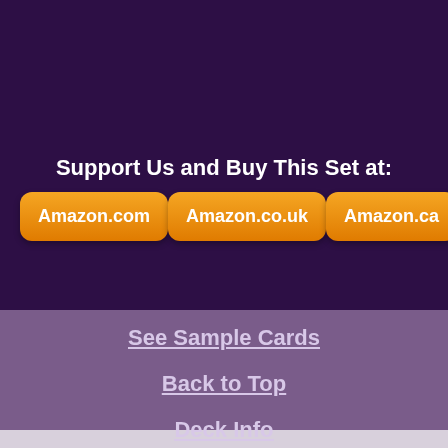Support Us and Buy This Set at:
Amazon.com
Amazon.co.uk
Amazon.ca
See Sample Cards
Back to Top
Deck Info